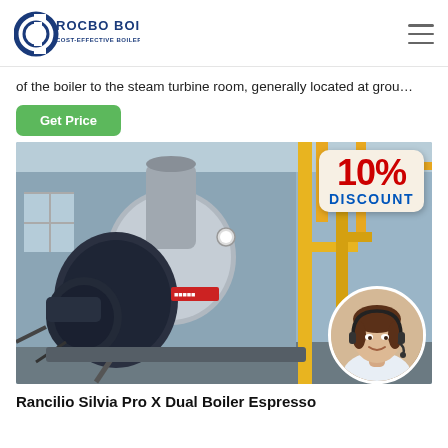ROCBO BOILER — COST-EFFECTIVE BOILER SUPPLIER
of the boiler to the steam turbine room, generally located at grou…
Get Price
[Figure (photo): Industrial gas/oil-fired boiler in a factory setting with yellow piping, showing a 10% DISCOUNT badge and a circular inset of a female customer service agent wearing a headset]
Rancilio Silvia Pro X Dual Boiler Espresso